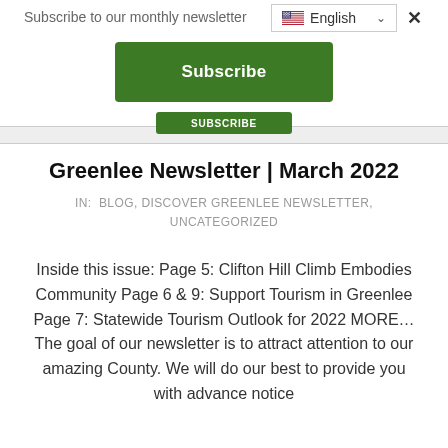Subscribe to our monthly newsletter
Subscribe
Greenlee Newsletter | March 2022
IN:  BLOG, DISCOVER GREENLEE NEWSLETTER, UNCATEGORIZED
Inside this issue: Page 5: Clifton Hill Climb Embodies Community Page 6 & 9: Support Tourism in Greenlee Page 7: Statewide Tourism Outlook for 2022 MORE… The goal of our newsletter is to attract attention to our amazing County. We will do our best to provide you with advance notice